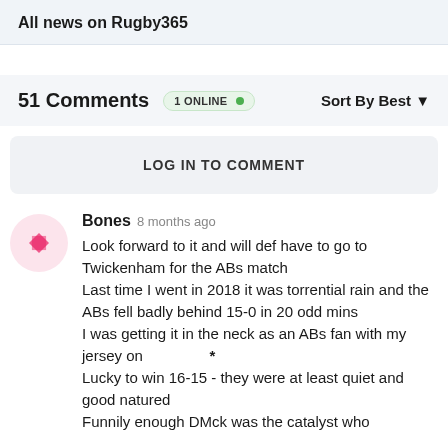All news on Rugby365
51 Comments  1 ONLINE •  Sort By Best ▼
LOG IN TO COMMENT
Bones 8 months ago
Look forward to it and will def have to go to Twickenham for the ABs match
Last time I went in 2018 it was torrential rain and the ABs fell badly behind 15-0 in 20 odd mins
I was getting it in the neck as an ABs fan with my jersey on    *
Lucky to win 16-15 - they were at least quiet and good natured
Funnily enough DMck was the catalyst who